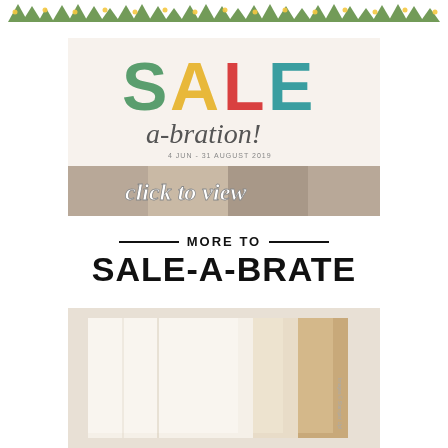[Figure (illustration): Decorative top border with green leaf/arrow motifs and yellow accents on white background]
[Figure (illustration): Sale-a-bration promotional image with colorful SALE text (S green, A yellow, L red, E teal), 'a-bration!' italic script below, small date text, and 'click to view' cursive overlay on a collage of craft products]
MORE TO SALE-A-BRATE
[Figure (photo): Three overlapping sheets/cards in white, cream, and tan/gold colors arranged in a layered fan composition on a light background, with small 'Images © Stampin' Up!' watermark text]